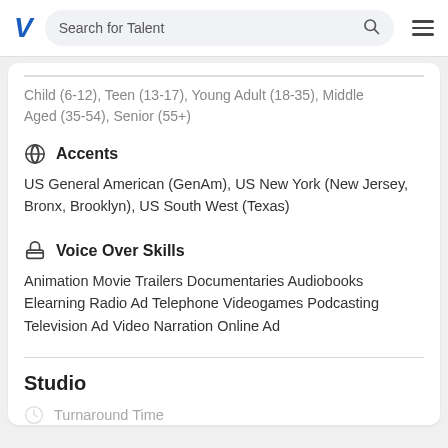Search for Talent
Child (6-12), Teen (13-17), Young Adult (18-35), Middle Aged (35-54), Senior (55+)
Accents
US General American (GenAm), US New York (New Jersey, Bronx, Brooklyn), US South West (Texas)
Voice Over Skills
Animation Movie Trailers Documentaries Audiobooks Elearning Radio Ad Telephone Videogames Podcasting Television Ad Video Narration Online Ad
Studio
Turnaround Time